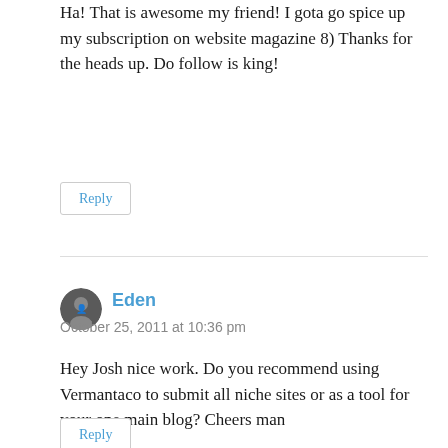Ha! That is awesome my friend! I gota go spice up my subscription on website magazine 8) Thanks for the heads up. Do follow is king!
Reply
Eden
October 25, 2011 at 10:36 pm
Hey Josh nice work. Do you recommend using Vermantaco to submit all niche sites or as a tool for your one main blog? Cheers man
Reply